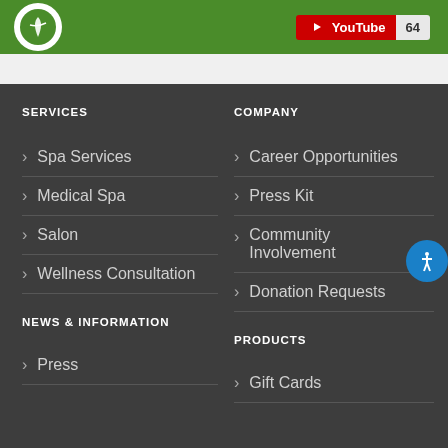[Figure (logo): Green circular logo with leaf design]
[Figure (other): YouTube subscribe button showing count 64]
SERVICES
Spa Services
Medical Spa
Salon
Wellness Consultation
NEWS & INFORMATION
Press
COMPANY
Career Opportunities
Press Kit
Community Involvement
Donation Requests
PRODUCTS
Gift Cards